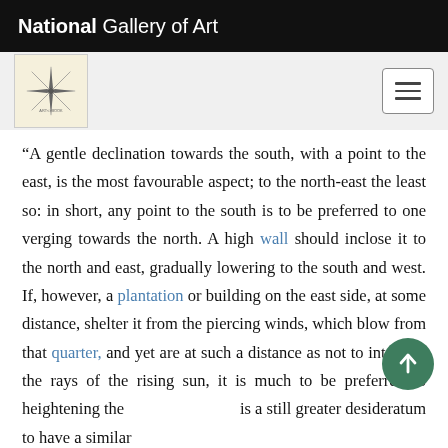National Gallery of Art
[Figure (logo): Decorative compass/star logo in a light beige box]
“A gentle declination towards the south, with a point to the east, is the most favourable aspect; to the north-east the least so: in short, any point to the south is to be preferred to one verging towards the north. A high wall should inclose it to the north and east, gradually lowering to the south and west. If, however, a plantation or building on the east side, at some distance, shelter it from the piercing winds, which blow from that quarter, and yet are at such a distance as not to intercept the rays of the rising sun, it is much to be preferred to heightening the [wall.] is a still greater desideratum to have a similar [shelter to the south and west...]